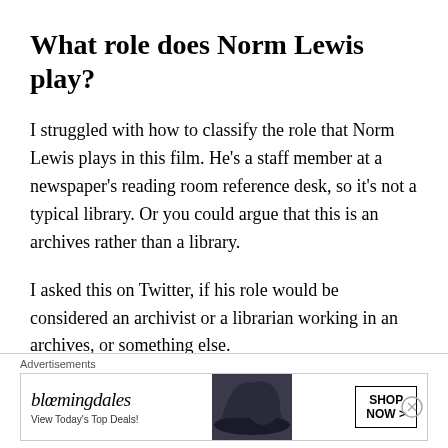What role does Norm Lewis play?
I struggled with how to classify the role that Norm Lewis plays in this film. He's a staff member at a newspaper's reading room reference desk, so it's not a typical library. Or you could argue that this is an archives rather than a library.
I asked this on Twitter, if his role would be considered an archivist or a librarian working in an archives, or something else.
[Figure (screenshot): Bloomingdale's advertisement banner with logo, hat image, tagline 'View Today's Top Deals!' and 'SHOP NOW >' button]